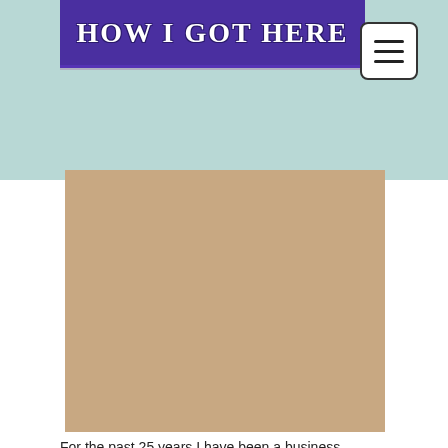HOW I GOT HERE
[Figure (photo): A tan/beige colored rectangular photo placeholder in the center of the page]
For the past 25 years I have been a business